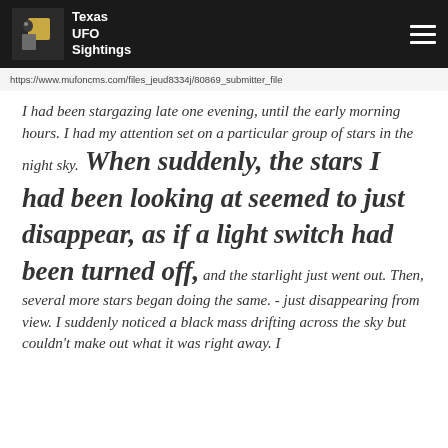Texas UFO Sightings
https://www.mufoncms.com/files_jeud8334j/80869_submitter_file
I had been stargazing late one evening, until the early morning hours. I had my attention set on a particular group of stars in the night sky. When suddenly, the stars I had been looking at seemed to just disappear, as if a light switch had been turned off, and the starlight just went out. Then, several more stars began doing the same. - just disappearing from view. I suddenly noticed a black mass drifting across the sky but couldn't make out what it was right away. I